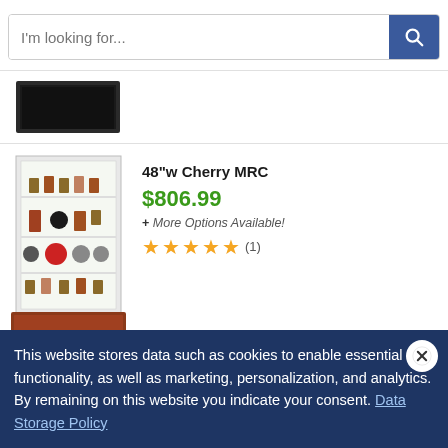I'm looking for...
[Figure (photo): Partial view of a dark display cabinet at the top of the page]
48"w Cherry MRC
$806.99
+ More Options Available!
★★★★★ (1)
22"w Silver Top & Side Lighting California
$3,955.99
+ More Options Available!
This website stores data such as cookies to enable essential site functionality, as well as marketing, personalization, and analytics. By remaining on this website you indicate your consent. Data Storage Policy